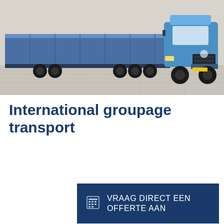[Figure (photo): A blue Volvo semi-truck with a flatbed trailer covered by a blue tarpaulin, parked on a concrete surface.]
International groupage transport
[Figure (other): Dark blue button with a calculator icon and text: VRAAG DIRECT EEN OFFERTE AAN]